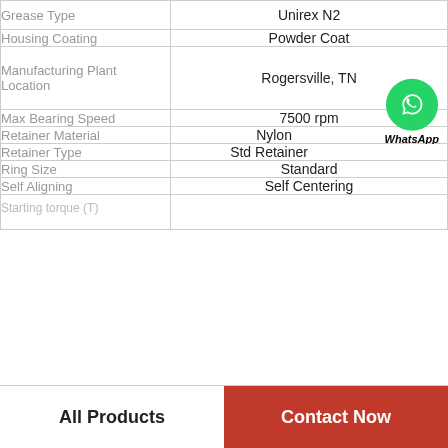| Property | Value |
| --- | --- |
| Grease Type | Unirex N2 |
| Housing Coating | Powder Coat |
| Manufacturing Plant Location | Rogersville, TN |
| Max Bearing Speed | 7500 rpm |
| Retainer Material | Nylon |
| Retainer Type | Std Retainer |
| Ring Size | Standard |
| Self Aligning | Self Centering |
| [partial row] | [partial] |
[Figure (logo): WhatsApp contact button with green phone icon and text 'WhatsApp Online']
All Products   Contact Now